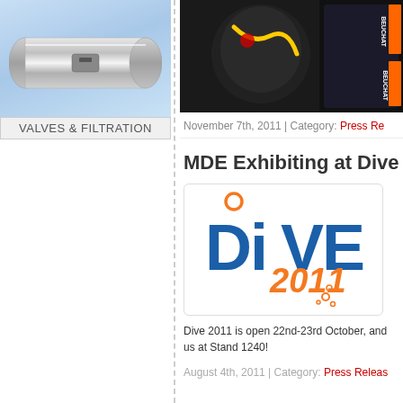[Figure (photo): Industrial valve/filter component on blue gradient background]
VALVES & FILTRATION
[Figure (photo): Scuba diving gear including BCD and wetsuit, Beuchat branding visible]
November 7th, 2011 | Category: Press Re...
MDE Exhibiting at Dive
[Figure (logo): Dive 2011 event logo with blue and orange text]
Dive 2011 is open 22nd-23rd October, and us at Stand 1240!
August 4th, 2011 | Category: Press Releas...